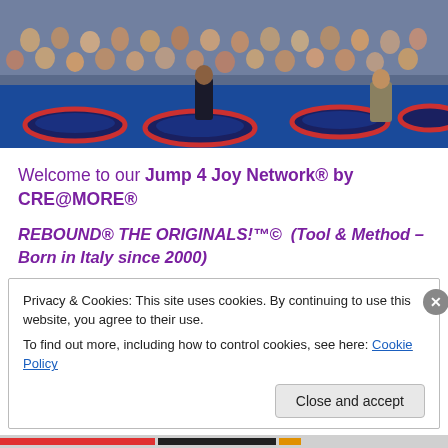[Figure (photo): Large group photo of people (crowd) sitting and standing in a fitness/trampoline event venue. Multiple mini trampolines with red borders on a blue floor are visible in the foreground. Instructors stand at the front facing the crowd.]
Welcome to our Jump 4 Joy Network® by CRE@MORE®
REBOUND® THE ORIGINALS!™©  (Tool & Method – Born in Italy since 2000)
Privacy & Cookies: This site uses cookies. By continuing to use this website, you agree to their use.
To find out more, including how to control cookies, see here: Cookie Policy
Close and accept